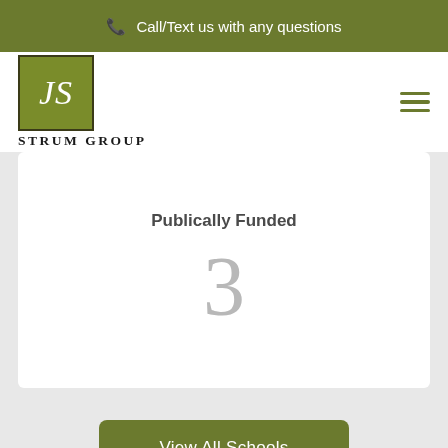Call/Text us with any questions
[Figure (logo): JS Strum Group logo - green square with JS initials]
Publically Funded
3
View All Schools